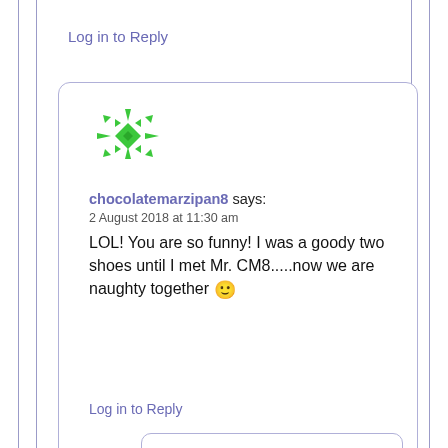Log in to Reply
[Figure (illustration): Green snowflake/geometric pattern avatar for user chocolatemarzipan8]
chocolatemarzipan8 says:
2 August 2018 at 11:30 am
LOL! You are so funny! I was a goody two shoes until I met Mr. CM8.....now we are naughty together 🙂
Log in to Reply
[Figure (photo): Circular avatar photo showing a dark landscape/water scene with horizon line]
Lovestosmellgood says: